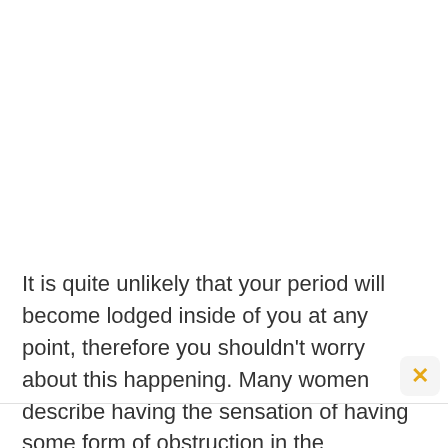It is quite unlikely that your period will become lodged inside of you at any point, therefore you shouldn't worry about this happening. Many women describe having the sensation of having some form of obstruction in the abdomen that might be slowing